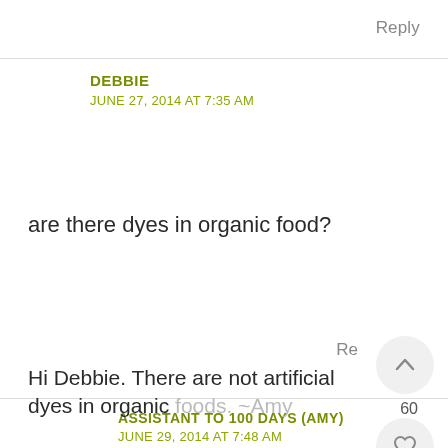Reply
DEBBIE
JUNE 27, 2014 AT 7:35 AM
are there dyes in organic food?
Re
60
ASSISTANT TO 100 DAYS (AMY)
JUNE 29, 2014 AT 7:48 AM
Hi Debbie. There are not artificial dyes in organic foods. ~Amy